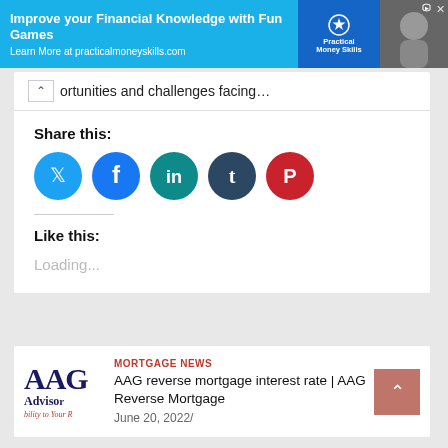[Figure (screenshot): Advertisement banner: 'Improve your Financial Knowledge with Fun Games - Learn More at practicalmoneyskills.com' with Practical Money Skills logo and athlete photo]
ortunities and challenges facing…
Share this:
[Figure (infographic): Social sharing buttons: Twitter (blue), Facebook (blue), LinkedIn (teal), Tumblr (dark), Pinterest (red) circular icons]
Like this:
Loading...
[Figure (logo): AAG Advisor logo with tagline 'bility to Your R']
MORTGAGE NEWS
AAG reverse mortgage interest rate | AAG Reverse Mortgage
June 20, 2022/